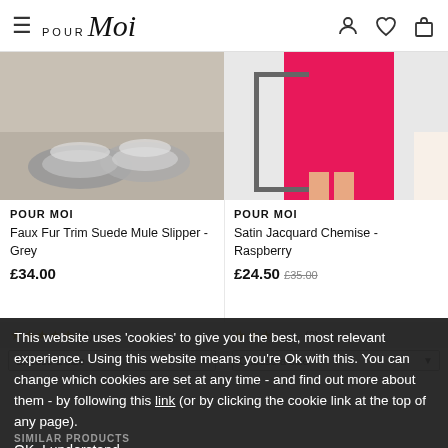POUR MOI navigation header with hamburger menu, logo, and icons (user, wishlist, bag)
[Figure (photo): Grey faux fur trim suede mule slippers on a textured floor]
[Figure (photo): Person wearing raspberry pink satin jacquard chemise, reflected in mirror]
POUR MOI
POUR MOI
Faux Fur Trim Suede Mule Slipper - Grey
Satin Jacquard Chemise - Raspberry
£34.00
£24.50 was £35.00
★★★★★ (1)
★★★ (2)
This website uses 'cookies' to give you the best, most relevant experience. Using this website means you're Ok with this. You can change which cookies are set at any time - and find out more about them - by following this link (or by clicking the cookie link at the top of any page).
OK, I understand
SIMILAR PRODUCTS